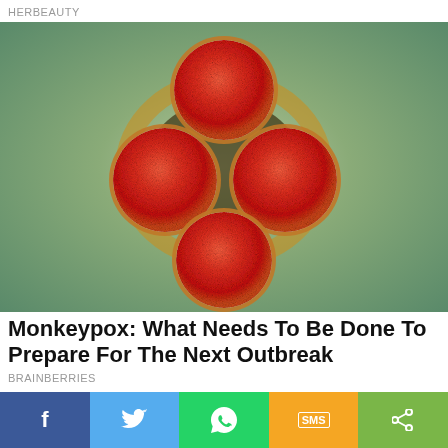HERBEAUTY
[Figure (photo): Electron microscope image of monkeypox virus particles — four round red/orange circular virus particles clustered together on a teal-green granular background]
Monkeypox: What Needs To Be Done To Prepare For The Next Outbreak
BRAINBERRIES
[Figure (photo): Partial preview image strip showing a person's face on a light blue/teal background]
[Figure (infographic): Social sharing bar with Facebook, Twitter, WhatsApp, SMS, and Share buttons]